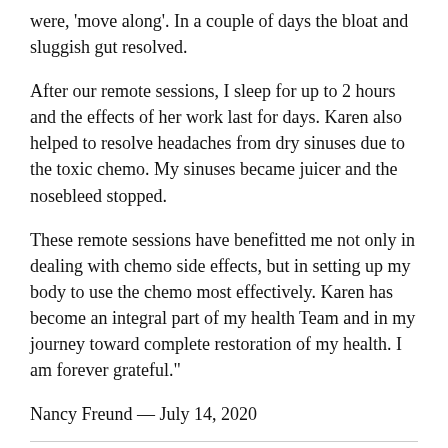were, 'move along'. In a couple of days the bloat and sluggish gut resolved.
After our remote sessions, I sleep for up to 2 hours and the effects of her work last for days. Karen also helped to resolve headaches from dry sinuses due to the toxic chemo. My sinuses became juicer and the nosebleed stopped.
These remote sessions have benefitted me not only in dealing with chemo side effects, but in setting up my body to use the chemo most effectively. Karen has become an integral part of my health Team and in my journey toward complete restoration of my health. I am forever grateful."
Nancy Freund — July 14, 2020
"I have worked with Karen Partial during